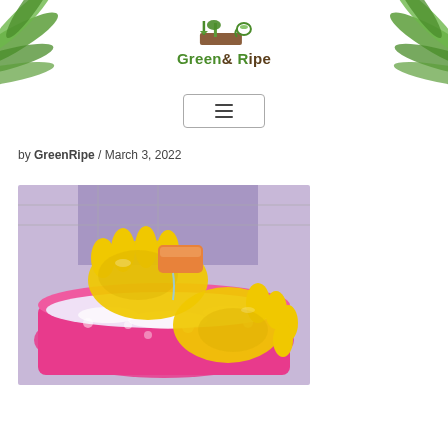Green & Ripe
by GreenRipe / March 3, 2022
[Figure (photo): Person wearing yellow rubber gloves squeezing a sponge over a pink basin filled with soapy water]